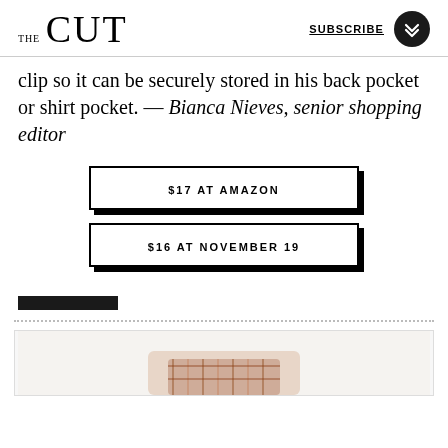THE CUT | SUBSCRIBE
clip so it can be securely stored in his back pocket or shirt pocket. — Bianca Nieves, senior shopping editor
$17 AT AMAZON
$16 AT NOVEMBER 19
[Figure (photo): Black rectangular bar (redacted/blacked out text)]
[Figure (photo): Partial product photo showing a plaid shirt at the bottom of the page]